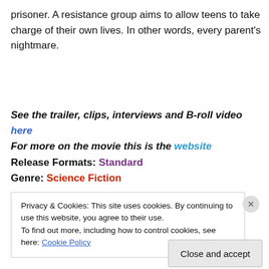prisoner. A resistance group aims to allow teens to take charge of their own lives. In other words, every parent's nightmare.
See the trailer, clips, interviews and B-roll video here
For more on the movie this is the website
Release Formats: Standard
Genre: Science Fiction
Privacy & Cookies: This site uses cookies. By continuing to use this website, you agree to their use.
To find out more, including how to control cookies, see here: Cookie Policy